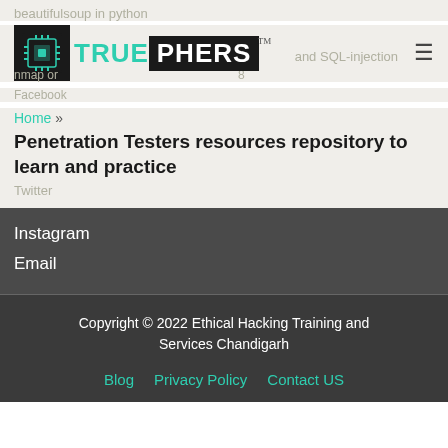beautifulsoup in python
[Figure (logo): TruePhers logo with circuit board icon on black background, TRUE in teal and PHERS in white on black box, with TM mark]
and SQL-injection
nmap or
8
Facebook
Home » Penetration Testers resources repository to learn and practice
Twitter
Instagram
Email
Copyright © 2022 Ethical Hacking Training and Services Chandigarh
Blog   Privacy Policy   Contact US